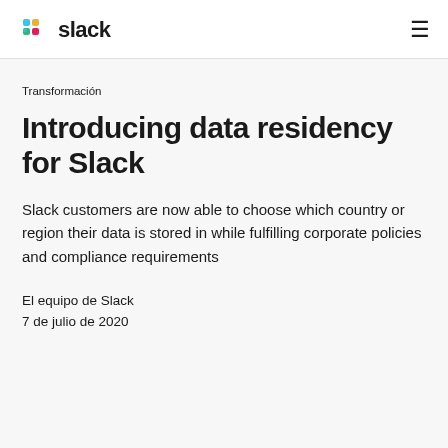slack
Transformación
Introducing data residency for Slack
Slack customers are now able to choose which country or region their data is stored in while fulfilling corporate policies and compliance requirements
El equipo de Slack
7 de julio de 2020